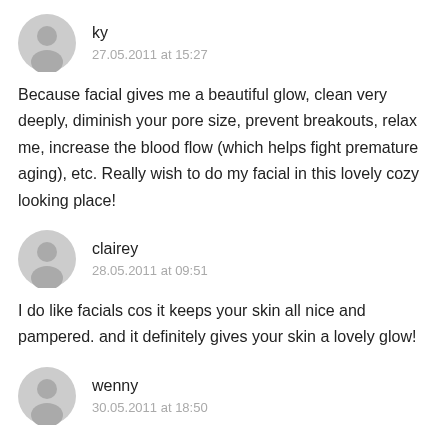ky
27.05.2011 at 15:27
Because facial gives me a beautiful glow, clean very deeply, diminish your pore size, prevent breakouts, relax me, increase the blood flow (which helps fight premature aging), etc. Really wish to do my facial in this lovely cozy looking place!
clairey
28.05.2011 at 09:51
I do like facials cos it keeps your skin all nice and pampered. and it definitely gives your skin a lovely glow!
wenny
30.05.2011 at 18:50